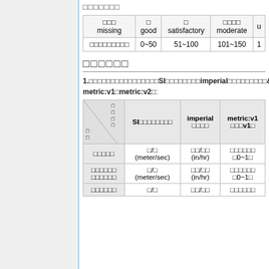□□□□□□□
| □□□ missing | □ good | □ satisfactory | □□□□ moderate | u... |
| --- | --- | --- | --- | --- |
| □□□□□□□□□ | 0~50 | 51~100 | 101~150 | 1... |
□□□□□□
1.□□□□□□□□□□□□□□□□SI□□□□□□□□imperial□□□□□□□□□&unit□□□□□□□□□□: metric:v1□metric:v2□:
| (diagonal header) | SI□□□□□□□□ | imperial □□□□ | metric:v1 □□□v1□ |
| --- | --- | --- | --- |
| □□□□□ | □/□ (meter/sec) | □□/□□ (in/hr) | □□□□□□ □0~1□ |
| □□□□□□ □□□□□□ | □/□ (meter/sec) | □□/□□ (in/hr) | □□□□□□ □0~1□ |
| □□□□□□ | □/□ | □□/□□ | □□□□□□ |